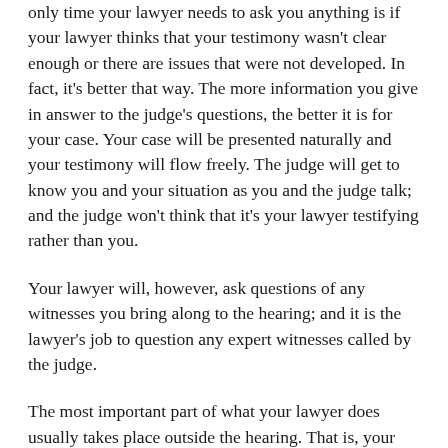only time your lawyer needs to ask you anything is if your lawyer thinks that your testimony wasn't clear enough or there are issues that were not developed. In fact, it's better that way. The more information you give in answer to the judge's questions, the better it is for your case. Your case will be presented naturally and your testimony will flow freely. The judge will get to know you and your situation as you and the judge talk; and the judge won't think that it's your lawyer testifying rather than you.
Your lawyer will, however, ask questions of any witnesses you bring along to the hearing; and it is the lawyer's job to question any expert witnesses called by the judge.
The most important part of what your lawyer does usually takes place outside the hearing. That is, your lawyer gathers medical evidence, gets reports from doctors, does legal and medical research, and prepares witnesses to testify.
Your lawyer may make a closing argument either in writing or